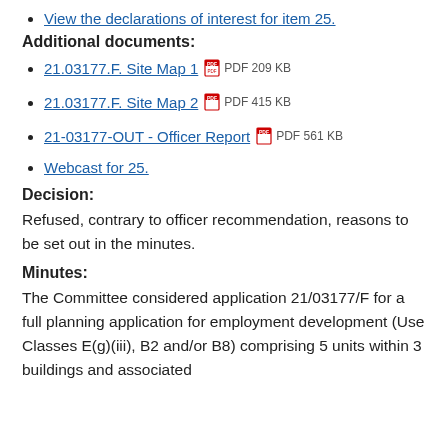View the declarations of interest for item 25.
Additional documents:
21.03177.F. Site Map 1   PDF 209 KB
21.03177.F. Site Map 2   PDF 415 KB
21-03177-OUT - Officer Report   PDF 561 KB
Webcast for 25.
Decision:
Refused, contrary to officer recommendation, reasons to be set out in the minutes.
Minutes:
The Committee considered application 21/03177/F for a full planning application for employment development (Use Classes E(g)(iii), B2 and/or B8) comprising 5 units within 3 buildings and associated